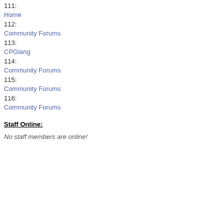111: Home
112: Community Forums
113: CPGlang
114: Community Forums
115: Community Forums
116: Community Forums
Staff Online:
No staff members are online!
Back to top
Curious things
Gajinoz, welco
Marco
Back to top
Uhu_Fledermaus
Aircraft Demolition Expert
Offline
Joined: Nov 28, 2004
Posts: 4369
Location: Blaricum, The Netherlands ~GMT+1
Posted: Sur
Post subject: P
To inform you M
I did a bit of ad
fled
Back to top
gajinoz
Power User
Offline
Posted: Sur
Post subject: